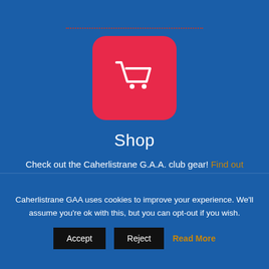[Figure (illustration): Red rounded square icon containing a white shopping cart, representing a shop section]
Shop
Check out the Caherlistrane G.A.A. club gear! Find out more
[Figure (illustration): Partially visible second red rounded icon at bottom of blue section]
Caherlistrane GAA uses cookies to improve your experience. We'll assume you're ok with this, but you can opt-out if you wish.
Accept | Reject | Read More